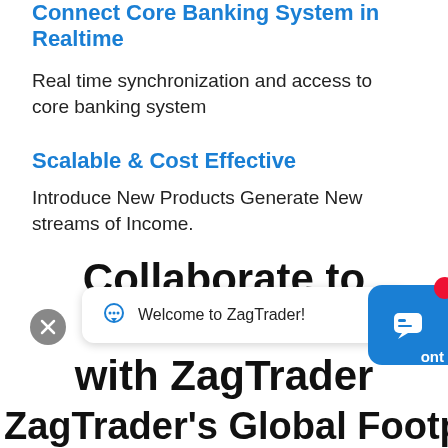Connect Core Banking System in Realtime
Real time synchronization and access to core banking system
Scalable & Cost Effective
Introduce New Products Generate New streams of Income.
Collaborate to Innovate with ZagTrader
[Figure (screenshot): Chat overlay with close button, chat bubble saying 'Welcome to ZagTrader!' with a bot icon, and a blue chat widget with a red notification dot in the bottom right corner.]
ZagTrader's Global Footprint